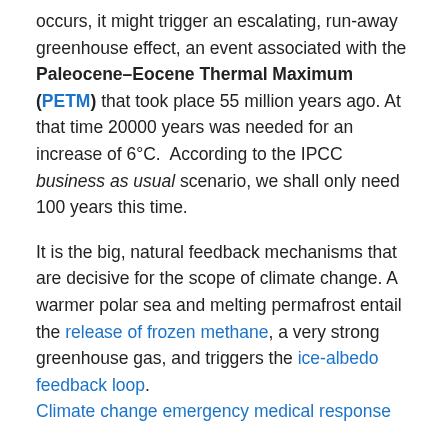occurs, it might trigger an escalating, run-away greenhouse effect, an event associated with the Paleocene–Eocene Thermal Maximum (PETM) that took place 55 million years ago. At that time 20000 years was needed for an increase of 6°C. According to the IPCC business as usual scenario, we shall only need 100 years this time.
It is the big, natural feedback mechanisms that are decisive for the scope of climate change. A warmer polar sea and melting permafrost entail the release of frozen methane, a very strong greenhouse gas, and triggers the ice-albedo feedback loop. Climate change emergency medical response
Addiction and subsidies to the richest
The last 50 years the world's richest people have